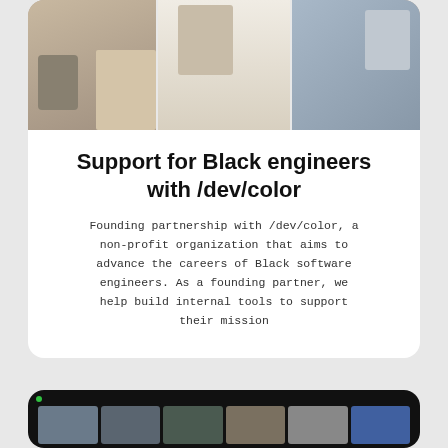[Figure (photo): Three photos of Black engineers at social/networking events, shown in a horizontal strip at the top of a white card]
Support for Black engineers with /dev/color
Founding partnership with /dev/color, a non-profit organization that aims to advance the careers of Black software engineers. As a founding partner, we help build internal tools to support their mission
[Figure (screenshot): Screenshot of a video conference call showing multiple participants in thumbnail grid view, on a dark background, partially visible at bottom of page]